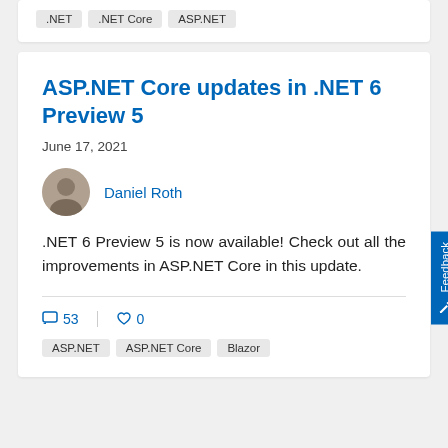.NET  .NET Core  ASP.NET
ASP.NET Core updates in .NET 6 Preview 5
June 17, 2021
Daniel Roth
.NET 6 Preview 5 is now available! Check out all the improvements in ASP.NET Core in this update.
53 comments  0 likes
ASP.NET  ASP.NET Core  Blazor